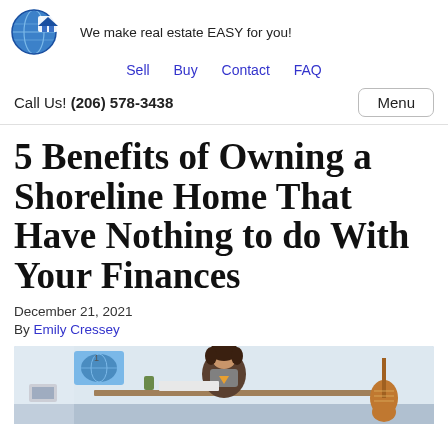[Figure (logo): Globe and house logo icon for real estate website]
We make real estate EASY for you!
Sell  Buy  Contact  FAQ
Call Us! (206) 578-3438
5 Benefits of Owning a Shoreline Home That Have Nothing to do With Your Finances
December 21, 2021
By Emily Cressey
[Figure (photo): Young person sitting at a desk eating pizza with a guitar in the background and a globe/map poster on the wall]